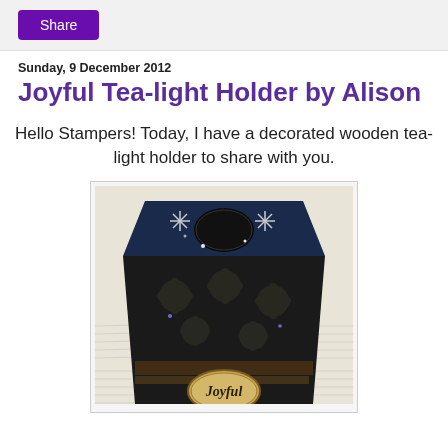Share
Sunday, 9 December 2012
Joyful Tea-light Holder by Alison
Hello Stampers! Today, I have a decorated wooden tea-light holder to share with you.
[Figure (photo): A decorated black wooden tea-light holder with white embossed snowflakes and sequins on top, dark floral pattern on front, sitting on sheet music. The word 'Joyful' appears in a circular label at the bottom front.]